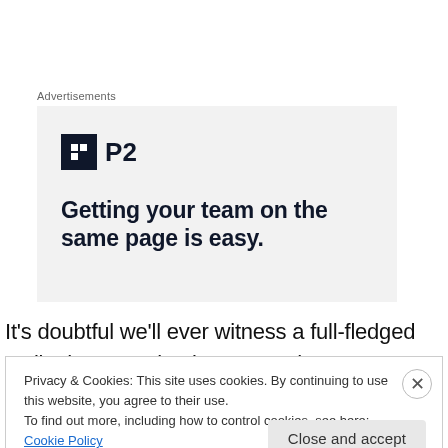Advertisements
[Figure (other): Advertisement for P2 product with logo and tagline: Getting your team on the same page is easy.]
It’s doubtful we’ll ever witness a full-fledged Gallagher comeback.  By now he seems to have lost or screw or
Privacy & Cookies: This site uses cookies. By continuing to use this website, you agree to their use.
To find out more, including how to control cookies, see here: Cookie Policy